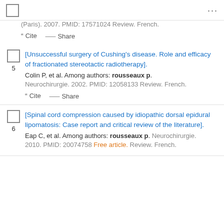checkbox and menu
(Paris). 2007. PMID: 17571024 Review. French.
Cite  Share
5. [Unsuccessful surgery of Cushing's disease. Role and efficacy of fractionated stereotactic radiotherapy]. Colin P, et al. Among authors: rousseaux p. Neurochirurgie. 2002. PMID: 12058133 Review. French.
Cite  Share
6. [Spinal cord compression caused by idiopathic dorsal epidural lipomatosis: Case report and critical review of the literature]. Eap C, et al. Among authors: rousseaux p. Neurochirurgie. 2010. PMID: 20074758 Free article. Review. French.